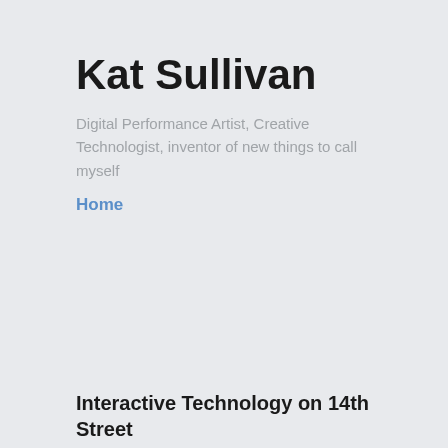Kat Sullivan
Digital Performance Artist, Creative Technologist, inventor of new things to call myself
Home
Interactive Technology on 14th Street